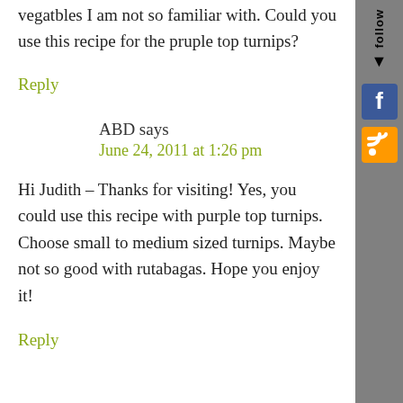vegatbles I am not so familiar with. Could you use this recipe for the pruple top turnips?
Reply
ABD says
June 24, 2011 at 1:26 pm
Hi Judith – Thanks for visiting! Yes, you could use this recipe with purple top turnips. Choose small to medium sized turnips. Maybe not so good with rutabagas. Hope you enjoy it!
Reply